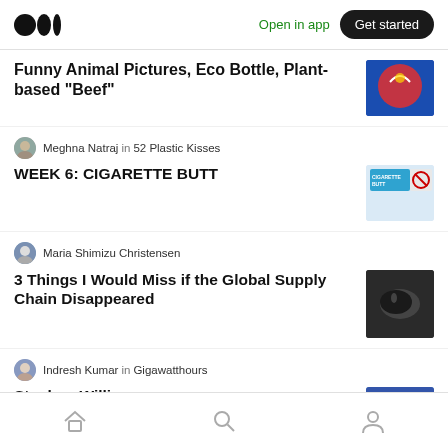Medium logo | Open in app | Get started
Funny Animal Pictures, Eco Bottle, Plant-based “Beef”
Meghna Natraj in 52 Plastic Kisses
WEEK 6: CIGARETTE BUTT
Maria Shimizu Christensen
3 Things I Would Miss if the Global Supply Chain Disappeared
Indresh Kumar in Gigawatthours
Stephan Williams
Home | Search | Profile